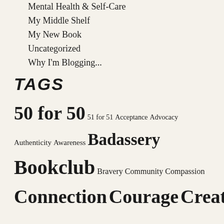Mental Health & Self-Care
My Middle Shelf
My New Book
Uncategorized
Why I'm Blogging...
TAGS
50 for 50  51 for 51  Acceptance  Advocacy  Authenticity  Awareness  Badassery  Bookclub  Bravery  Community  Compassion  Connection  Courage  Creativity